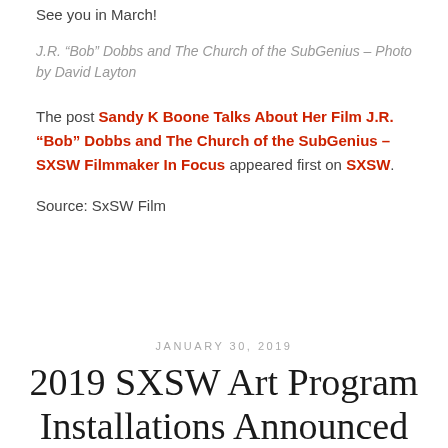See you in March!
J.R. “Bob” Dobbs and The Church of the SubGenius – Photo by David Layton
The post Sandy K Boone Talks About Her Film J.R. “Bob” Dobbs and The Church of the SubGenius – SXSW Filmmaker In Focus appeared first on SXSW.
Source: SxSW Film
JANUARY 30, 2019
2019 SXSW Art Program Installations Announced